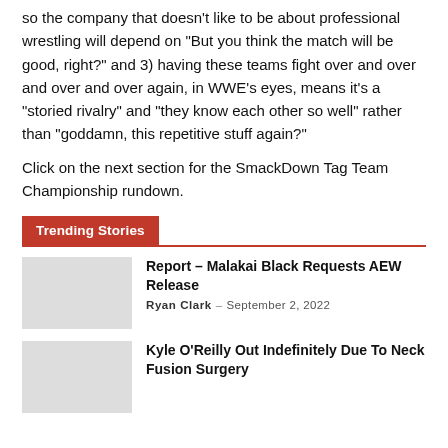so the company that doesn't like to be about professional wrestling will depend on "But you think the match will be good, right?" and 3) having these teams fight over and over and over and over again, in WWE's eyes, means it's a "storied rivalry" and "they know each other so well" rather than "goddamn, this repetitive stuff again?"
Click on the next section for the SmackDown Tag Team Championship rundown.
Trending Stories
Report – Malakai Black Requests AEW Release
Ryan Clark – September 2, 2022
Kyle O'Reilly Out Indefinitely Due To Neck Fusion Surgery